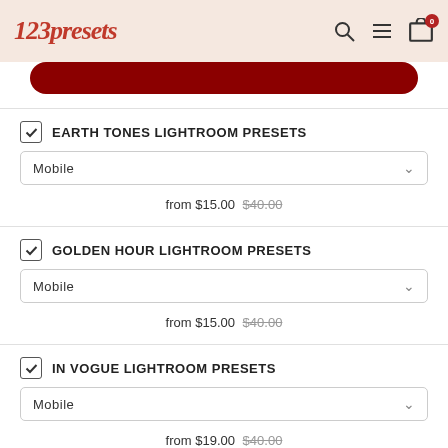123presets
[Figure (screenshot): Red rounded button bar]
EARTH TONES LIGHTROOM PRESETS — Mobile — from $15.00 $40.00
GOLDEN HOUR LIGHTROOM PRESETS — Mobile — from $15.00 $40.00
IN VOGUE LIGHTROOM PRESETS — Mobile — from $19.00 $40.00